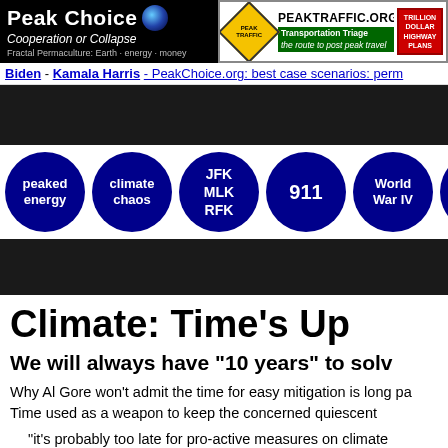[Figure (logo): Peak Choice logo - Cooperation or Collapse, Fractal Permaculture: Earth energy money, with globe icon]
[Figure (logo): PeakTraffic.org banner with diamond road sign, Transportation Triage tagline, and red Trillion Dollar Highway Plans sign]
Biden - Kamala Harris - PeakChoice.org: best case scenarios: perm
[Figure (infographic): Dark banner navigation bar with navigation circles: peaked energy, climate chaos, JFK MLK RFK, 911, World War IV, me & C (partial)]
Climate: Time's Up
We will always have "10 years" to solv
Why Al Gore won't admit the time for easy mitigation is long pa
Time used as a weapon to keep the concerned quiescent
"it's probably too late for pro-active measures on climate